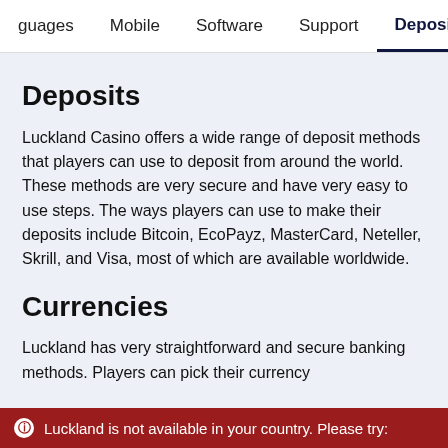guages   Mobile   Software   Support   Deposits
Deposits
Luckland Casino offers a wide range of deposit methods that players can use to deposit from around the world. These methods are very secure and have very easy to use steps. The ways players can use to make their deposits include Bitcoin, EcoPayz, MasterCard, Neteller, Skrill, and Visa, most of which are available worldwide.
Currencies
Luckland has very straightforward and secure banking methods. Players can pick their currency of the less than the interest and the state is a little to all the
Luckland is not available in your country. Please try: